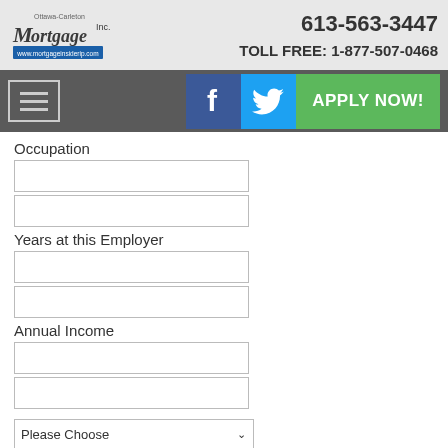Ottawa-Carleton Mortgage Inc. | 613-563-3447 | TOLL FREE: 1-877-507-0468
[Figure (logo): Ottawa-Carleton Mortgage Inc. logo with website URL]
Occupation
Years at this Employer
Annual Income
Please Choose (dropdown x2)